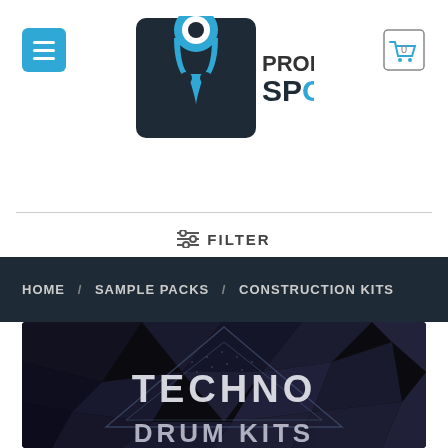[Figure (logo): Producer Spot logo with headphone/location pin icon and text PRODUCER SPOT]
[Figure (screenshot): Menu hamburger button (blue square with three white lines)]
[Figure (screenshot): Shopping cart icon with number 0]
☰ FILTER
HOME / SAMPLE PACKS / CONSTRUCTION KITS
[Figure (photo): Dark geometric/polygon artwork with large text TECHNO DRUM KITS overlaid]